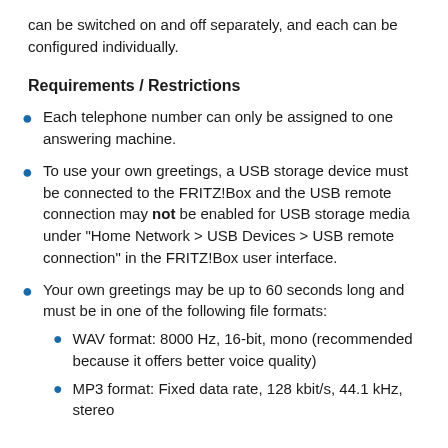can be switched on and off separately, and each can be configured individually.
Requirements / Restrictions
Each telephone number can only be assigned to one answering machine.
To use your own greetings, a USB storage device must be connected to the FRITZ!Box and the USB remote connection may not be enabled for USB storage media under "Home Network > USB Devices > USB remote connection" in the FRITZ!Box user interface.
Your own greetings may be up to 60 seconds long and must be in one of the following file formats:
WAV format: 8000 Hz, 16-bit, mono (recommended because it offers better voice quality)
MP3 format: Fixed data rate, 128 kbit/s, 44.1 kHz, stereo